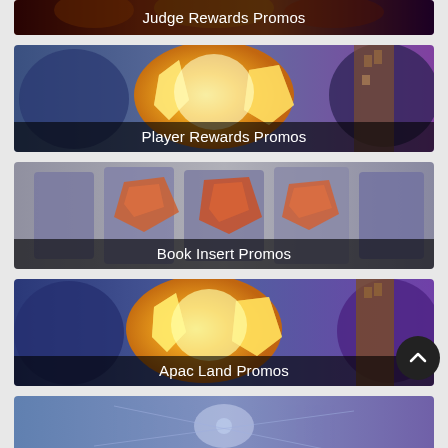[Figure (illustration): Judge Rewards Promos banner - partial view of fantasy card art with dark/fire tones, label at bottom]
[Figure (illustration): Player Rewards Promos banner - glowing golden crystal/torch fantasy art with blue tones, label at bottom]
[Figure (illustration): Book Insert Promos banner - stone/rocky orange and grey fantasy art, label at bottom]
[Figure (illustration): Apac Land Promos banner - glowing golden crystal fantasy art similar to Player Rewards, label at bottom]
[Figure (illustration): Partial banner at bottom of page - blue/purple tonal fantasy art, partially visible]